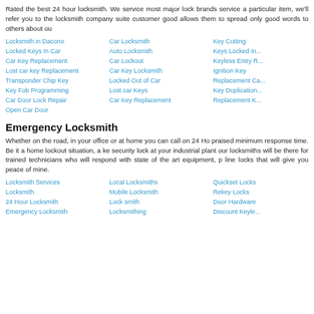Rated the best 24 hour locksmith. We service most major lock brands... service a particular item, we'll refer you to the locksmith company suite... customer good allows them to spread only good words to others about ou...
Locksmith in Dacono
Locked Keys In Car
Car Key Replacement
Lost car key Replacement
Transponder Chip Key
Key Fob Programming
Car Door Lock Repair
Open Car Door
Car Locksmith
Auto Locksmith
Car Lockout
Car Key Locksmith
Locked Out of Car
Lost car Keys
Car Key Replacement
Key Cutting
Keys Locked In...
Keyless Entry R...
Ignition Key
Replacement Ca...
Key Duplication...
Replacement K...
Emergency Locksmith
Whether on the road, in your office or at home you can call on 24 Ho... praised minimum response time. Be it a home lockout situation, a ke... security lock at your industrial plant our locksmiths will be there for... trained technicians who will respond with state of the art equipment, p... line locks that will give you peace of mine.
Locksmith Services
Locksmith
24 Hour Locksmith
Emergency Locksmith
Local Locksmiths
Mobile Locksmith
Lock smith
Locksmithing
Quickset Locks
Rekey Locks
Door Hardware
Discount Keyle...